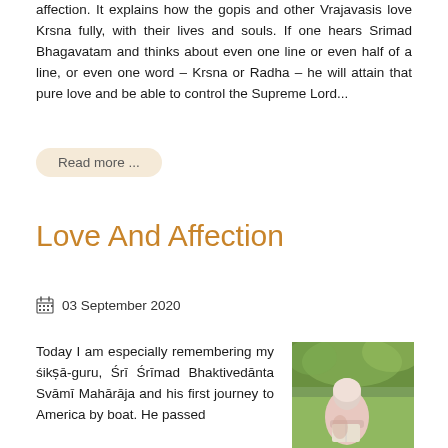affection. It explains how the gopis and other Vrajavasis love Krsna fully, with their lives and souls. If one hears Srimad Bhagavatam and thinks about even one line or even half of a line, or even one word – Krsna or Radha – he will attain that pure love and be able to control the Supreme Lord...
Read more ...
Love And Affection
03 September 2020
Today I am especially remembering my śikṣā-guru, Śrī Śrīmad Bhaktivedānta Svāmī Mahārāja and his first journey to America by boat. He passed
[Figure (photo): A person in light pink/white clothing sitting outdoors on grass reading, with green foliage in the background.]